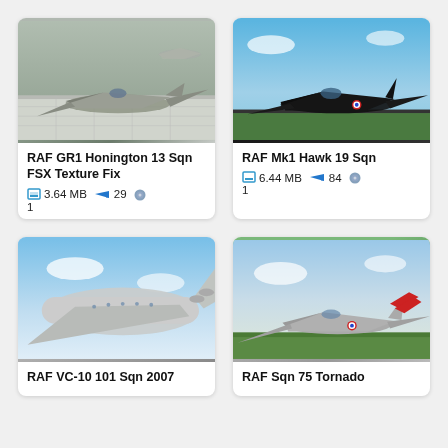[Figure (photo): RAF GR1 Tornado aircraft on tarmac, simulation screenshot]
RAF GR1 Honington 13 Sqn FSX Texture Fix
3.64 MB  29  1
[Figure (photo): RAF Mk1 Hawk black jet aircraft on runway, simulation screenshot]
RAF Mk1 Hawk 19 Sqn
6.44 MB  84  1
[Figure (photo): RAF VC-10 large aircraft in flight, simulation screenshot]
RAF VC-10 101 Sqn 2007
[Figure (photo): RAF Sqn 75 Tornado aircraft on grass airfield, simulation screenshot]
RAF Sqn 75 Tornado